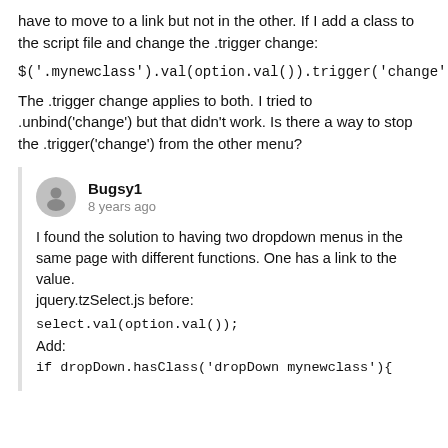have to move to a link but not in the other. If I add a class to the script file and change the .trigger change:
$('.mynewclass').val(option.val()).trigger('change');
The .trigger change applies to both. I tried to .unbind('change') but that didn't work. Is there a way to stop the .trigger('change') from the other menu?
Bugsy1
8 years ago
I found the solution to having two dropdown menus in the same page with different functions. One has a link to the value.
jquery.tzSelect.js before:
select.val(option.val());
Add:
if dropDown.hasClass('dropDown mynewclass'){